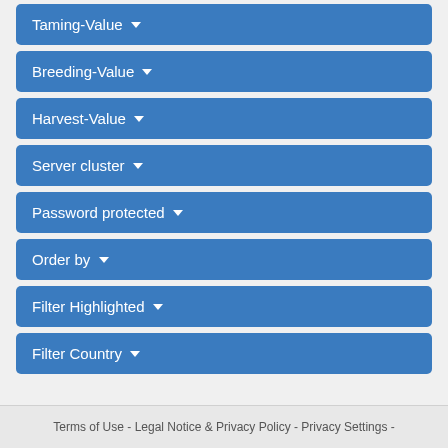Taming-Value ▾
Breeding-Value ▾
Harvest-Value ▾
Server cluster ▾
Password protected ▾
Order by ▾
Filter Highlighted ▾
Filter Country ▾
Terms of Use - Legal Notice & Privacy Policy - Privacy Settings -